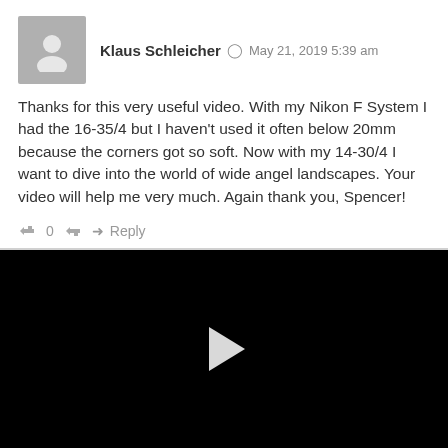[Figure (illustration): Gray placeholder avatar showing a silhouette of a person]
Klaus Schleicher  May 21, 2019 5:39 am
Thanks for this very useful video. With my Nikon F System I had the 16-35/4 but I haven't used it often below 20mm because the corners got so soft. Now with my 14-30/4 I want to dive into the world of wide angel landscapes. Your video will help me very much. Again thank you, Spencer!
0  Reply
[Figure (screenshot): Black video player with a white play button triangle in the center]